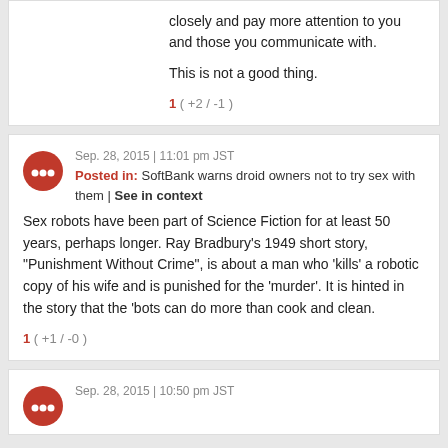closely and pay more attention to you and those you communicate with.
This is not a good thing.
1 ( +2 / -1 )
Sep. 28, 2015 | 11:01 pm JST
Posted in: SoftBank warns droid owners not to try sex with them | See in context
Sex robots have been part of Science Fiction for at least 50 years, perhaps longer. Ray Bradbury's 1949 short story, "Punishment Without Crime", is about a man who 'kills' a robotic copy of his wife and is punished for the 'murder'. It is hinted in the story that the 'bots can do more than cook and clean.
1 ( +1 / -0 )
Sep. 28, 2015 | 10:50 pm JST